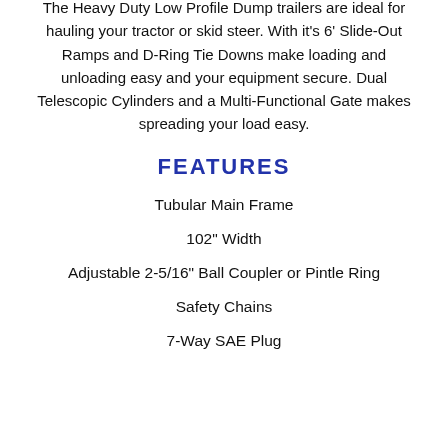The Heavy Duty Low Profile Dump trailers are ideal for hauling your tractor or skid steer. With it's 6' Slide-Out Ramps and D-Ring Tie Downs make loading and unloading easy and your equipment secure. Dual Telescopic Cylinders and a Multi-Functional Gate makes spreading your load easy.
FEATURES
Tubular Main Frame
102" Width
Adjustable 2-5/16" Ball Coupler or Pintle Ring
Safety Chains
7-Way SAE Plug